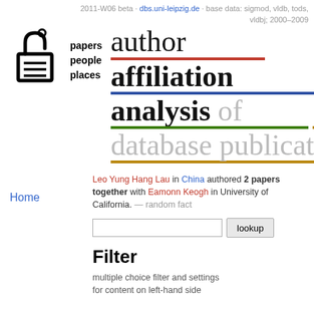2011-W06 beta · dbs.uni-leipzig.de · base data: sigmod, vldb, tods, vldbj; 2000–2009
[Figure (logo): Logo with padlock/tag icon and text 'papers people places']
author affiliation analysis of database publications
Leo Yung Hang Lau in China authored 2 papers together with Eamonn Keogh in University of California. — random fact
Home
lookup (search input)
Filter
multiple choice filter and settings for content on left-hand side